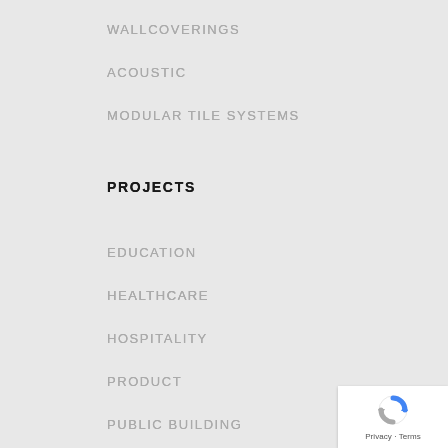WALLCOVERINGS
ACOUSTIC
MODULAR TILE SYSTEMS
PROJECTS
EDUCATION
HEALTHCARE
HOSPITALITY
PRODUCT
PUBLIC BUILDING
RESIDENTIAL
RETAIL
[Figure (logo): reCAPTCHA badge with Privacy and Terms links]